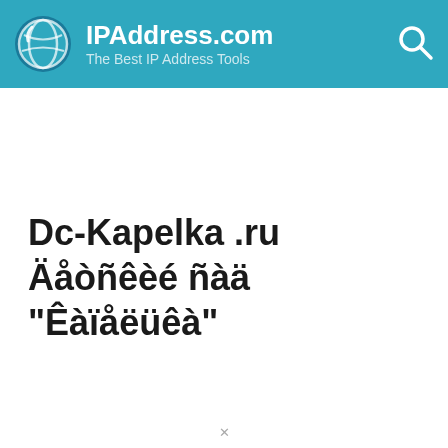IPAddress.com — The Best IP Address Tools
Dc-Kapelka .ru Äåòñêèé ñàä "Êàïåëüêà"